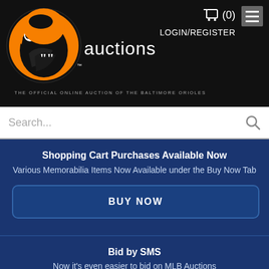[Figure (logo): Baltimore Orioles bird logo in orange, black and white, circular design]
auctions
THE OFFICIAL ONLINE AUCTION OF THE BALTIMORE ORIOLES
(0)
LOGIN/REGISTER
Search...
Shopping Cart Purchases Available Now
Various Memorabilia Items Now Available under the Buy Now Tab
BUY NOW
Bid by SMS
Now it's even easier to bid on MLB Auctions
LEARN MORE